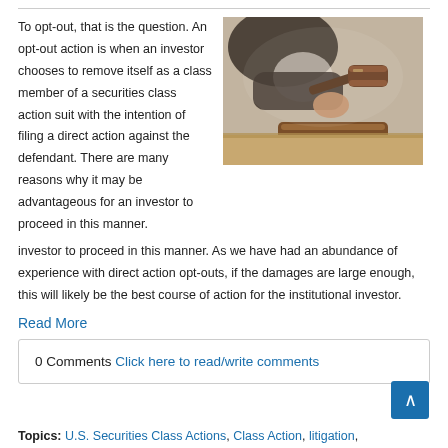To opt-out, that is the question. An opt-out action is when an investor chooses to remove itself as a class member of a securities class action suit with the intention of filing a direct action against the defendant. There are many reasons why it may be advantageous for an investor to proceed in this manner. As we have had an abundance of experience with direct action opt-outs, if the damages are large enough, this will likely be the best course of action for the institutional investor.
[Figure (photo): A judge or legal professional holding a wooden gavel over a sound block on a desk, photographed close-up with blurred background.]
Read More
0 Comments Click here to read/write comments
Topics: U.S. Securities Class Actions, Class Action, litigation, institutional investor, claims, Opt-out